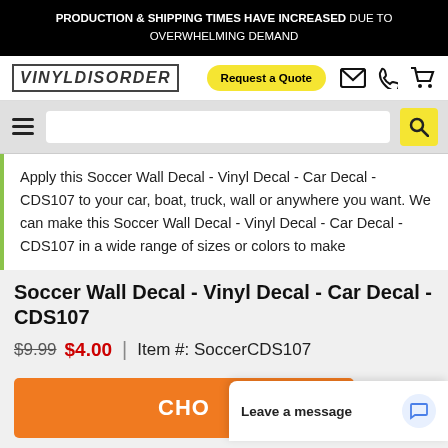PRODUCTION & SHIPPING TIMES HAVE INCREASED DUE TO OVERWHELMING DEMAND
[Figure (logo): VinylDisorder logo in bold italic block letters with border]
Request a Quote
Apply this Soccer Wall Decal - Vinyl Decal - Car Decal - CDS107 to your car, boat, truck, wall or anywhere you want. We can make this Soccer Wall Decal - Vinyl Decal - Car Decal - CDS107 in a wide range of sizes or colors to make
Soccer Wall Decal - Vinyl Decal - Car Decal - CDS107
$9.99  $4.00  |  Item #: SoccerCDS107
CHO
Leave a message